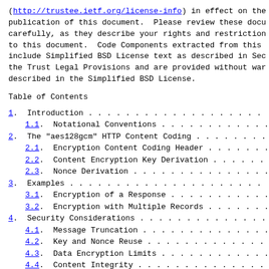(http://trustee.ietf.org/license-info) in effect on the publication of this document.  Please review these docu carefully, as they describe your rights and restriction to this document.  Code Components extracted from this include Simplified BSD License text as described in Sec the Trust Legal Provisions and are provided without war described in the Simplified BSD License.
Table of Contents
1.  Introduction . . . . . . . . . . . . . . . . . . .
1.1.  Notational Conventions . . . . . . . . . . . . .
2.  The "aes128gcm" HTTP Content Coding . . . . . . . .
2.1.  Encryption Content Coding Header . . . . . . . .
2.2.  Content Encryption Key Derivation . . . . . . . .
2.3.  Nonce Derivation . . . . . . . . . . . . . . . .
3.  Examples . . . . . . . . . . . . . . . . . . . . .
3.1.  Encryption of a Response . . . . . . . . . . . .
3.2.  Encryption with Multiple Records . . . . . . . .
4.  Security Considerations . . . . . . . . . . . . . .
4.1.  Message Truncation . . . . . . . . . . . . . . .
4.2.  Key and Nonce Reuse . . . . . . . . . . . . . .
4.3.  Data Encryption Limits . . . . . . . . . . . . .
4.4.  Content Integrity . . . . . . . . . . . . . . .
4.5.  Leaking Information in Header Fields . . . . . .
4.6.  Poisoning Storage . . . . . . . . . . . . . . .
4.7.  Sizing and Timing Attacks . . . . . . . . . . .
5.  IANA Considerations . . . . . . . . . . . . . . . .